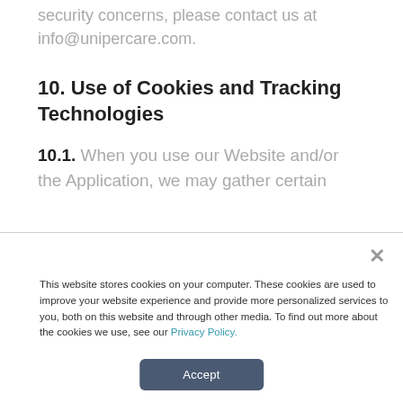security concerns, please contact us at info@unipercare.com.
10. Use of Cookies and Tracking Technologies
10.1. When you use our Website and/or the Application, we may gather certain
This website stores cookies on your computer. These cookies are used to improve your website experience and provide more personalized services to you, both on this website and through other media. To find out more about the cookies we use, see our Privacy Policy.
Accept